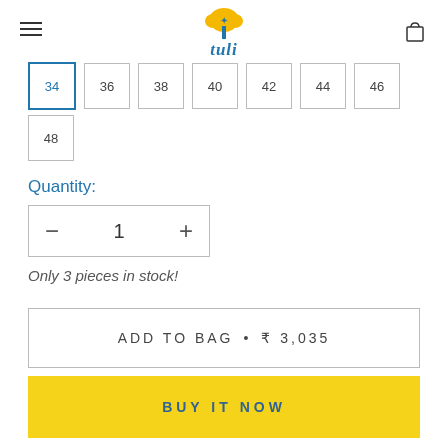tuli (logo with hamburger menu and cart icon)
34 (selected), 36, 38, 40, 42, 44, 46
48
Quantity:
- 1 +
Only 3 pieces in stock!
ADD TO BAG • ₹ 3,035
BUY IT NOW